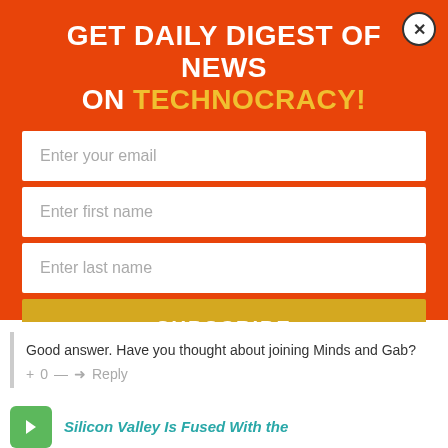GET DAILY DIGEST OF NEWS ON TECHNOCRACY!
[Figure (screenshot): Email subscription form with fields for email, first name, last name, and a Subscribe button]
Good answer. Have you thought about joining Minds and Gab?
+ 0 — Reply
Silicon Valley Is Fused With the